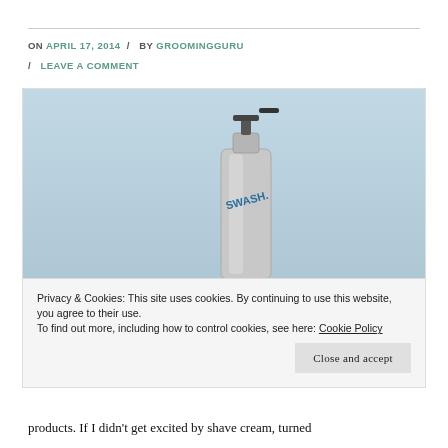ON APRIL 17, 2014 / BY GROOMINGGURU / LEAVE A COMMENT
[Figure (photo): Silver pump bottle product labeled 'SWASH' on a light blue gradient background, with bold text 'GET IT FOR THE CRACK' overlaid at the bottom]
Privacy & Cookies: This site uses cookies. By continuing to use this website, you agree to their use.
To find out more, including how to control cookies, see here: Cookie Policy
Close and accept
products. If I didn't get excited by shave cream, turned